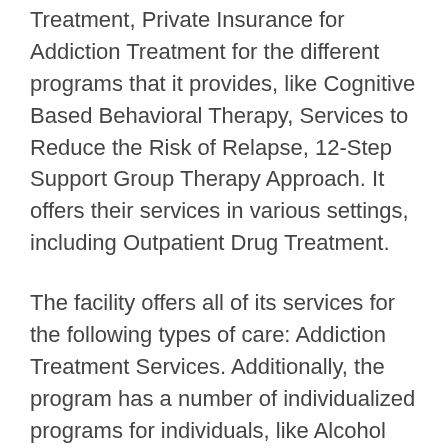Treatment, Private Insurance for Addiction Treatment for the different programs that it provides, like Cognitive Based Behavioral Therapy, Services to Reduce the Risk of Relapse, 12-Step Support Group Therapy Approach. It offers their services in various settings, including Outpatient Drug Treatment.
The facility offers all of its services for the following types of care: Addiction Treatment Services. Additionally, the program has a number of individualized programs for individuals, like Alcohol Rehab for Persons with Co-Occurring Mental and Substance Use Disorders, Alcohol Rehab for Lesbian, Gay, Bisexual, Or Transgender (LGBT)